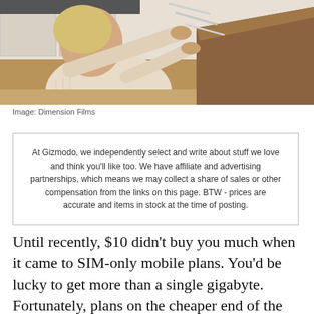[Figure (photo): A person in a cream-colored knit sweater examining or sharpening knives from a wooden knife block on a kitchen counter. The background shows a white kitchen with bottles and a green bowl visible.]
Image: Dimension Films
At Gizmodo, we independently select and write about stuff we love and think you'll like too. We have affiliate and advertising partnerships, which means we may collect a share of sales or other compensation from the links on this page. BTW - prices are accurate and items in stock at the time of posting.
Until recently, $10 didn't buy you much when it came to SIM-only mobile plans. You'd be lucky to get more than a single gigabyte. Fortunately, plans on the cheaper end of the spectrum are getting better and better, and Southern Phone